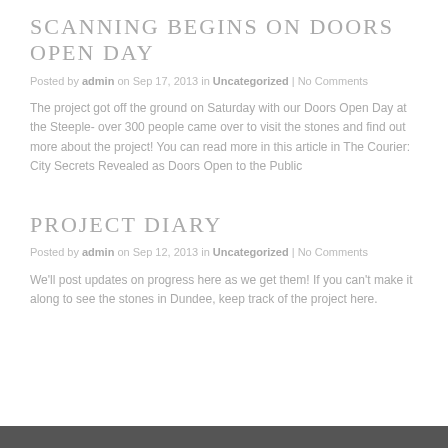Scanning begins on Doors Open Day
Posted by admin on Sep 17, 2013 in Uncategorized | No Comments
The project got off the ground on Saturday with our Doors Open Day at the Steeple- over 300 people came over to visit the stones and find out more about the project! You can read more in this article in The Courier: City Secrets Revealed as Doors Open to the Public
Project Diary
Posted by admin on Sep 12, 2013 in Uncategorized | No Comments
We'll post updates on progress here as we get them! If you can't make it along to see the stones in Dundee, keep track of the project here.